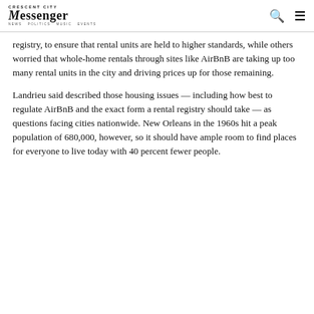Messenger
registry, to ensure that rental units are held to higher standards, while others worried that whole-home rentals through sites like AirBnB are taking up too many rental units in the city and driving prices up for those remaining.
Landrieu said described those housing issues — including how best to regulate AirBnB and the exact form a rental registry should take — as questions facing cities nationwide. New Orleans in the 1960s hit a peak population of 680,000, however, so it should have ample room to find places for everyone to live today with 40 percent fewer people.